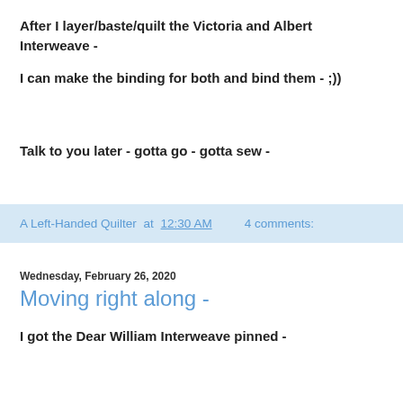After I layer/baste/quilt the Victoria and Albert Interweave -
I can make the binding for both and bind them - ;))
Talk to you later - gotta go - gotta sew -
A Left-Handed Quilter at 12:30 AM    4 comments:
Wednesday, February 26, 2020
Moving right along -
I got the Dear William Interweave pinned -